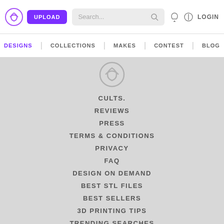UPLOAD | Search... | LOGIN
DESIGNS | COLLECTIONS | MAKES | CONTEST | BLOG
CULTS.
REVIEWS
PRESS
TERMS & CONDITIONS
PRIVACY
FAQ
DESIGN ON DEMAND
BEST STL FILES
BEST SELLERS
3D PRINTING TIPS
TRENDING SEARCHES
MAKER TOOLBOX
COLLECTIONS
CONTEST
BEST 3D DESIGNERS
3D CUSTOMIZER